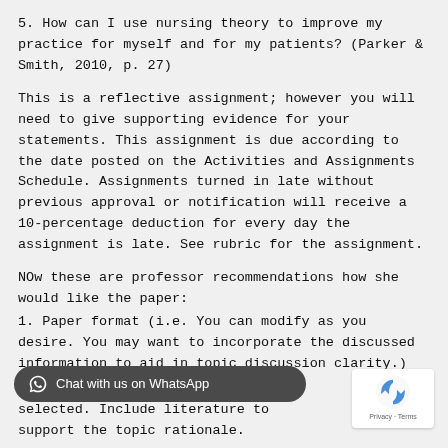5. How can I use nursing theory to improve my practice for myself and for my patients? (Parker & Smith, 2010, p. 27)
This is a reflective assignment; however you will need to give supporting evidence for your statements. This assignment is due according to the date posted on the Activities and Assignments Schedule. Assignments turned in late without previous approval or notification will receive a 10-percentage deduction for every day the assignment is late. See rubric for the assignment.
NOw these are professor recommendations how she would like the paper:
1. Paper format (i.e. You can modify as you desire. You may want to incorporate the discussed information to aid in topic discussion clarity.)
...e topic you selected. Include literature to support the topic rationale.
Explain the purpose for the paper. For example "Th...